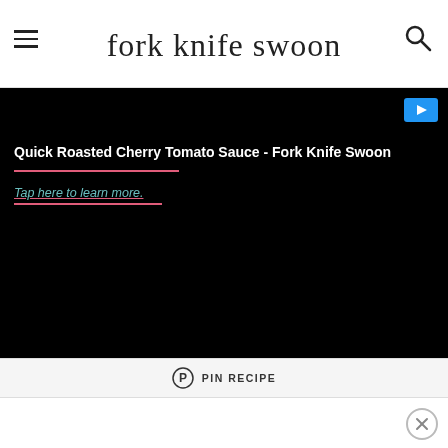fork knife swoon
[Figure (screenshot): Black ad overlay with play button, title 'Quick Roasted Cherry Tomato Sauce - Fork Knife Swoon', pink underline, and teal link 'Tap here to learn more.' with pink underline]
PIN RECIPE
[Figure (other): White content area below pin recipe bar]
[Figure (other): Close/dismiss button (X) at bottom right]